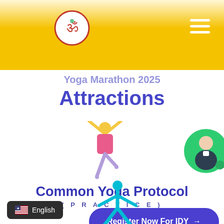[Figure (screenshot): Website screenshot showing Yoga Marathon 2025 Attractions page with logo, hamburger menu, yoga figure icon, Common Yoga Protocol section, Register Now For IDY button, and English language selector.]
Attractions
[Figure (illustration): Yoga pose icon: person with arms raised, pink top, purple pants, one leg raised]
Common Yoga Protocol
(PRACTICE)
Register Now For IDY →
English